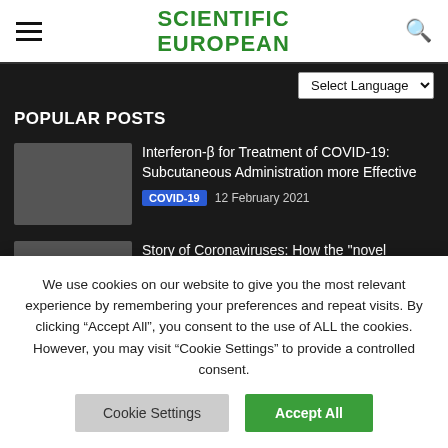SCIENTIFIC EUROPEAN
POPULAR POSTS
Interferon-β for Treatment of COVID-19: Subcutaneous Administration more Effective — COVID-19 — 12 February 2021
Story of Coronaviruses: How the ''novel Coronavirus (SARS-CoV-2)'' May Have Emerged?
We use cookies on our website to give you the most relevant experience by remembering your preferences and repeat visits. By clicking "Accept All", you consent to the use of ALL the cookies. However, you may visit "Cookie Settings" to provide a controlled consent.